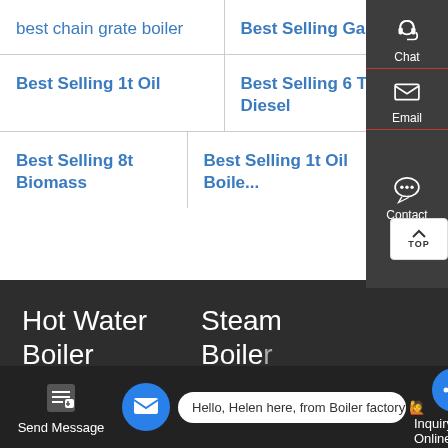best chain grate boiler
Best Selling Gas Boiler
Best Selling 1t Oil
Best Selling 6 Ton Diesel
Best Selling 8t Biomass
Best Selling 1t Oil Boil...
Hot Water Boiler
Steam Boiler
Electric Steam Boiler
Hello, Helen here, from Boiler factory 🙋
Send Message
Inquiry Online